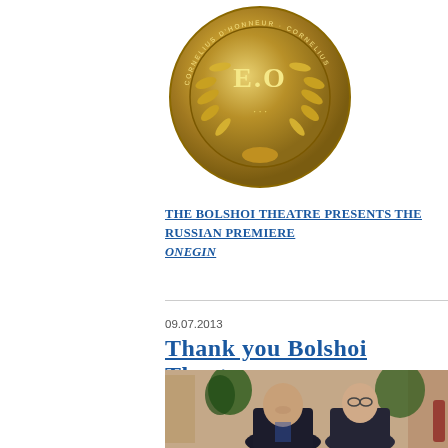[Figure (illustration): Gold medal/coin with letters E.O. in the center, surrounded by laurel wreath, with text around the border]
THE BOLSHOI THEATRE PRESENTS THE RUSSIAN PREMIERE ONEGIN
09.07.2013
Thank you Bolshoi Theatre
[Figure (photo): Two men in formal attire seated at a table, one leaning toward the other, indoor event setting with plants and ornate wall in background]